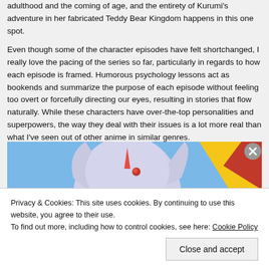adulthood and the coming of age, and the entirety of Kurumi's adventure in her fabricated Teddy Bear Kingdom happens in this one spot.
Even though some of the character episodes have felt shortchanged, I really love the pacing of the series so far, particularly in regards to how each episode is framed. Humorous psychology lessons act as bookends and summarize the purpose of each episode without feeling too overt or forcefully directing our eyes, resulting in stories that flow naturally. While these characters have over-the-top personalities and superpowers, the way they deal with their issues is a lot more real than what I've seen out of other anime in similar genres.
[Figure (illustration): Anime character with long silver/white hair and a unicorn horn, set against a blue sky background with colorful geometric shapes in red, yellow, and green visible in the background.]
Privacy & Cookies: This site uses cookies. By continuing to use this website, you agree to their use.
To find out more, including how to control cookies, see here: Cookie Policy
Close and accept